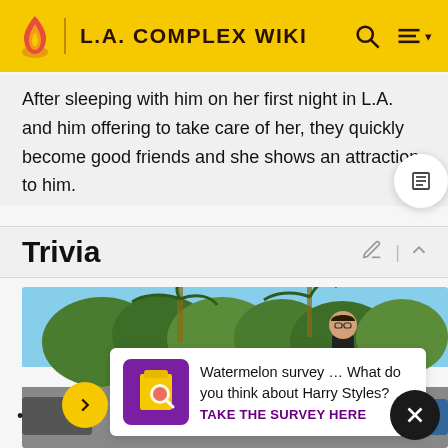L.A. COMPLEX WIKI
After sleeping with him on her first night in L.A. and him offering to take care of her, they quickly become good friends and she shows an attraction to him.
Trivia
[Figure (photo): Outdoor scene showing a young man with glasses and dark hair standing near trees and palm trees in a sunny L.A. setting, with cars visible below.]
Watermelon survey … What do you think about Harry Styles?
TAKE THE SURVEY HERE